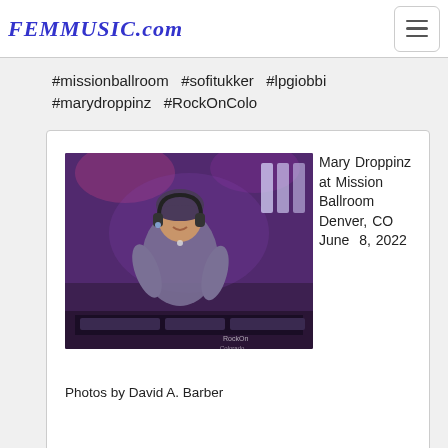FEMMUSIC.com
#missionballroom  #sofitukker  #lpgiobbi  #marydroppinz  #RockOnColo
[Figure (photo): Mary Droppinz DJing at Mission Ballroom with headphones, smiling, Denver CO, June 8 2022]
Mary Droppinz at Mission Ballroom Denver, CO June 8, 2022
Photos by David A. Barber
[Figure (photo): LP Giobbi performing, partial view at bottom of page]
LP Giobbi